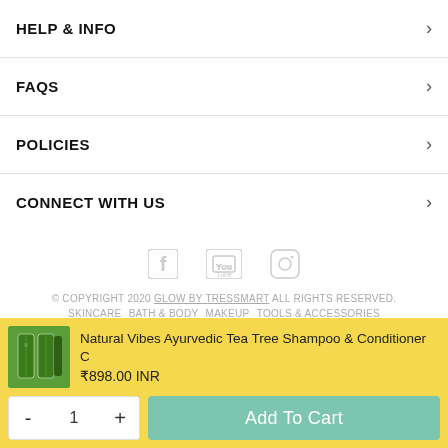HELP & INFO
FAQS
POLICIES
CONNECT WITH US
[Figure (infographic): Social media icons: Facebook, YouTube, Instagram]
© COPYRIGHT 2020 GLOW BY TRESSMART ALL RIGHTS RESERVED.
SKINCARE BATH & BODY MAKEUP TOOLS & ACCESSORIES
Natural Vibes Ayurvedic Tea Tree Shampoo & Conditioner C ₹898.00 INR — Add To Cart